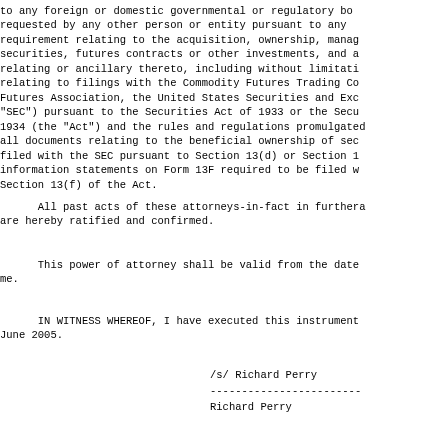to any foreign or domestic governmental or regulatory bo requested by any other person or entity pursuant to any requirement relating to the acquisition, ownership, manag securities, futures contracts or other investments, and a relating or ancillary thereto, including without limitati relating to filings with the Commodity Futures Trading Co Futures Association, the United States Securities and Exc "SEC") pursuant to the Securities Act of 1933 or the Secu 1934 (the "Act") and the rules and regulations promulgated all documents relating to the beneficial ownership of sec filed with the SEC pursuant to Section 13(d) or Section 1 information statements on Form 13F required to be filed w Section 13(f) of the Act.
All past acts of these attorneys-in-fact in furthera are hereby ratified and confirmed.
This power of attorney shall be valid from the date me.
IN WITNESS WHEREOF, I have executed this instrument June 2005.
/s/ Richard Perry
------------------------
Richard Perry